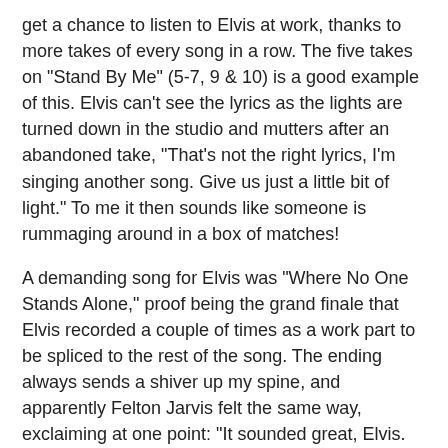get a chance to listen to Elvis at work, thanks to more takes of every song in a row. The five takes on "Stand By Me" (5-7, 9 & 10) is a good example of this. Elvis can't see the lyrics as the lights are turned down in the studio and mutters after an abandoned take, "That's not the right lyrics, I'm singing another song. Give us just a little bit of light." To me it then sounds like someone is rummaging around in a box of matches!
A demanding song for Elvis was "Where No One Stands Alone," proof being the grand finale that Elvis recorded a couple of times as a work part to be spliced to the rest of the song. The ending always sends a shiver up my spine, and apparently Felton Jarvis felt the same way, exclaiming at one point: "It sounded great, Elvis. God, I was scared to death."
The second take of "Farther Along" is a strange on. The first couple of words on the second verse are missing ("When death has come and") and instead it starts with Elvis singing "Taken our loved ones." To me it sounds like the take has been edited. Really odd. Unfortunately neither the booklet nor the cover offer any information about this.